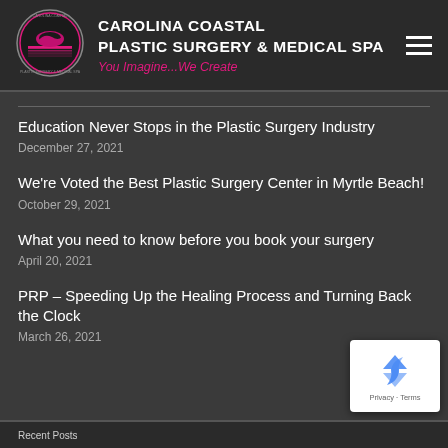CAROLINA COASTAL PLASTIC SURGERY & MEDICAL SPA
You Imagine...We Create
Education Never Stops in the Plastic Surgery Industry
December 27, 2021
We're Voted the Best Plastic Surgery Center in Myrtle Beach!
October 29, 2021
What you need to know before you book your surgery
April 20, 2021
PRP – Speeding Up the Healing Process and Turning Back the Clock
March 26, 2021
[Figure (logo): reCAPTCHA badge with Privacy and Terms links]